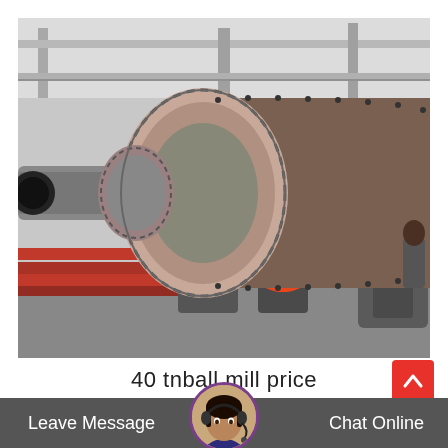[Figure (photo): Large industrial ball mill machine photographed in a factory/warehouse setting. The mill is a large horizontal cylindrical drum with flanged end plates, bolted connections, and visible support rollers underneath. Red steel components visible at the lower left. The machinery is gray/brown metal.]
40 tnball mill price
Leave Message
[Figure (photo): Small circular avatar of a female customer service representative wearing a headset microphone, dark hair, professional appearance.]
Chat Online